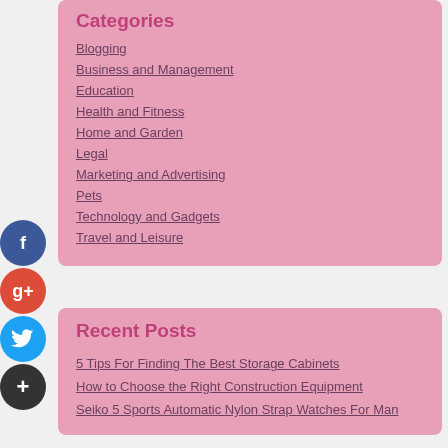Categories
Blogging
Business and Management
Education
Health and Fitness
Home and Garden
Legal
Marketing and Advertising
Pets
Technology and Gadgets
Travel and Leisure
Recent Posts
5 Tips For Finding The Best Storage Cabinets
How to Choose the Right Construction Equipment
Seiko 5 Sports Automatic Nylon Strap Watches For Man